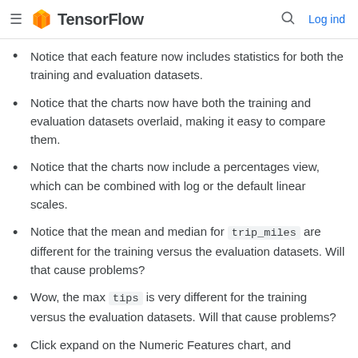TensorFlow  Log ind
Notice that each feature now includes statistics for both the training and evaluation datasets.
Notice that the charts now have both the training and evaluation datasets overlaid, making it easy to compare them.
Notice that the charts now include a percentages view, which can be combined with log or the default linear scales.
Notice that the mean and median for trip_miles are different for the training versus the evaluation datasets. Will that cause problems?
Wow, the max tips is very different for the training versus the evaluation datasets. Will that cause problems?
Click expand on the Numeric Features chart, and